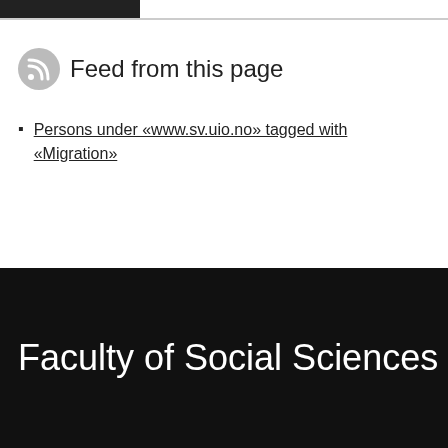[Figure (logo): Dark logo bar at top left]
Feed from this page
Persons under «www.sv.uio.no» tagged with «Migration»
Faculty of Social Sciences